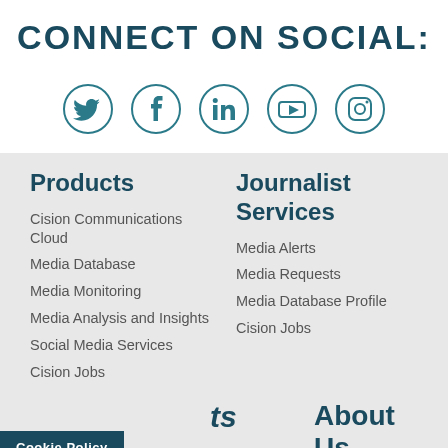CONNECT ON SOCIAL:
[Figure (illustration): Five social media icons in circles: Twitter, Facebook, LinkedIn, YouTube, Instagram]
Products
Cision Communications Cloud
Media Database
Media Monitoring
Media Analysis and Insights
Social Media Services
Cision Jobs
Journalist Services
Media Alerts
Media Requests
Media Database Profile
Cision Jobs
Cookie Policy
ts
About Us
REQUEST A DEMO AND PRICING